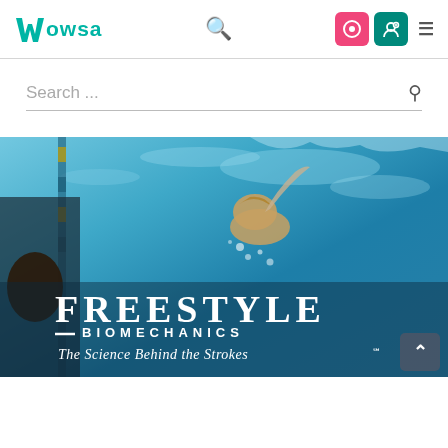WOWSA — navigation bar with logo, search icon, pink icon button, teal icon button, hamburger menu
Search ...
[Figure (photo): Underwater photo of a swimmer doing freestyle stroke in a pool, with text overlay reading 'FREESTYLE BIOMECHANICS — The Science Behind the Strokes' and a scroll-to-top button in the bottom right corner]